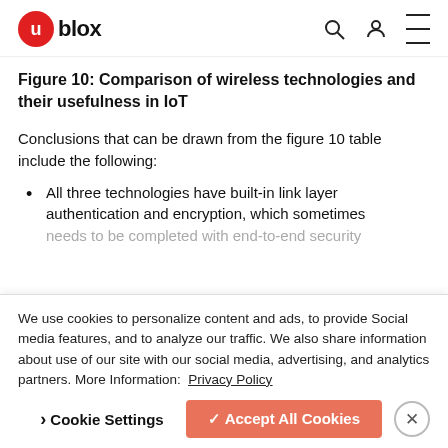u-blox
Figure 10: Comparison of wireless technologies and their usefulness in IoT
Conclusions that can be drawn from the figure 10 table include the following:
All three technologies have built-in link layer authentication and encryption, which sometimes needs to be completed with end-to-end security
We use cookies to personalize content and ads, to provide Social media features, and to analyze our traffic. We also share information about use of our site with our social media, advertising, and analytics partners. More Information: Privacy Policy